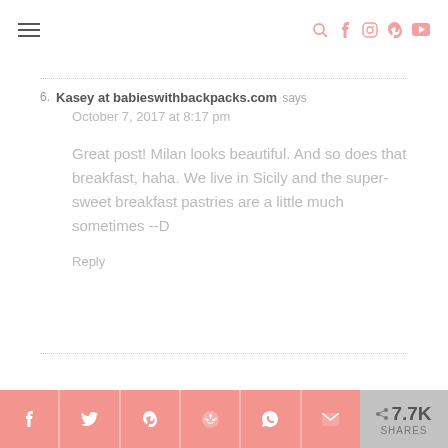Navigation bar with hamburger menu and social icons
6. Kasey at babieswithbackpacks.com says
October 7, 2017 at 8:17 pm

Great post! Milan looks beautiful. And so does that breakfast, haha. We live in Sicily and the super-sweet breakfast pastries are a little much sometimes --D

Reply
Share buttons: Facebook, Twitter, Pinterest, Reddit, WhatsApp, Email | 7.7K SHARES